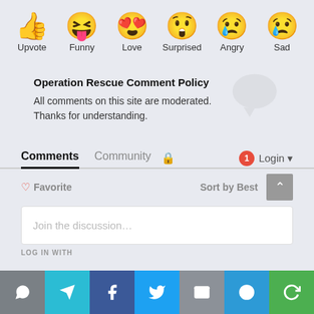[Figure (infographic): Row of six emoji reaction icons with labels: Upvote (thumbs up), Funny (laughing face with tongue), Love (heart eyes), Surprised (surprised face), Angry (crying face), Sad (sad face with tear)]
Operation Rescue Comment Policy
All comments on this site are moderated. Thanks for understanding.
Comments  Community  🔒  1  Login
♡ Favorite  Sort by Best
Join the discussion...
LOG IN WITH
[Figure (infographic): Social sharing/login button bar: share (gray), send (teal), Facebook (blue), Twitter (light blue), email (gray), SMS (blue), refresh/sync (green)]